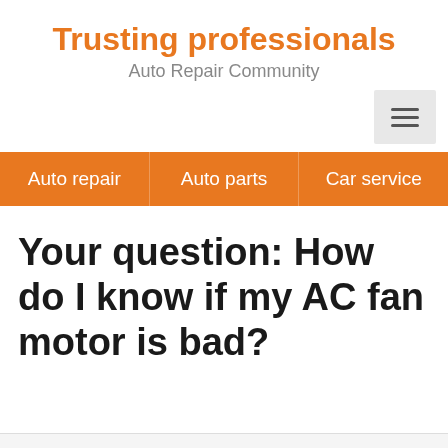Trusting professionals · Auto Repair Community
Auto repair · Auto parts · Car service
Your question: How do I know if my AC fan motor is bad?